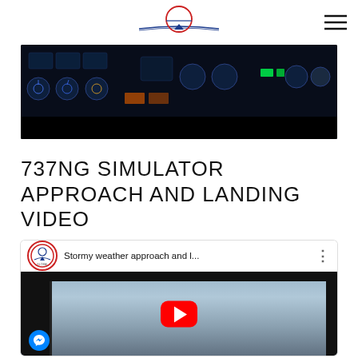Global Flight Ventures logo and navigation
[Figure (screenshot): Cockpit instrument panel at night with illuminated instruments and avionics displays, dark blue lighting]
737NG SIMULATOR APPROACH AND LANDING VIDEO
[Figure (screenshot): YouTube video thumbnail showing 'Stormy weather approach and l...' by Global Flight Ventures, with cockpit window view showing gray cloudy sky, red YouTube play button overlay and Facebook Messenger button]